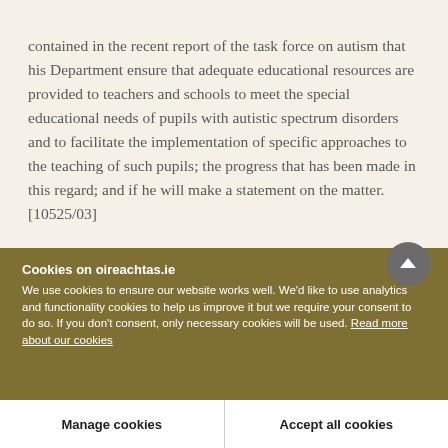contained in the recent report of the task force on autism that his Department ensure that adequate educational resources are provided to teachers and schools to meet the special educational needs of pupils with autistic spectrum disorders and to facilitate the implementation of specific approaches to the teaching of such pupils; the progress that has been made in this regard; and if he will make a statement on the matter. [10525/03]
Cookies on oireachtas.ie
We use cookies to ensure our website works well. We'd like to use analytics and functionality cookies to help us improve it but we require your consent to do so. If you don't consent, only necessary cookies will be used. Read more about our cookies
Manage cookies
Accept all cookies